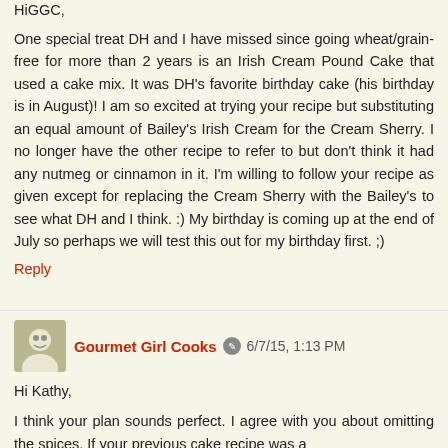Hi GGC,
One special treat DH and I have missed since going wheat/grain-free for more than 2 years is an Irish Cream Pound Cake that used a cake mix. It was DH's favorite birthday cake (his birthday is in August)! I am so excited at trying your recipe but substituting an equal amount of Bailey's Irish Cream for the Cream Sherry. I no longer have the other recipe to refer to but don't think it had any nutmeg or cinnamon in it. I'm willing to follow your recipe as given except for replacing the Cream Sherry with the Bailey's to see what DH and I think. :) My birthday is coming up at the end of July so perhaps we will test this out for my birthday first. ;)
Reply
Gourmet Girl Cooks  6/7/15, 1:13 PM
Hi Kathy,
I think your plan sounds perfect. I agree with you about omitting the spices. If your previous cake recipe was a